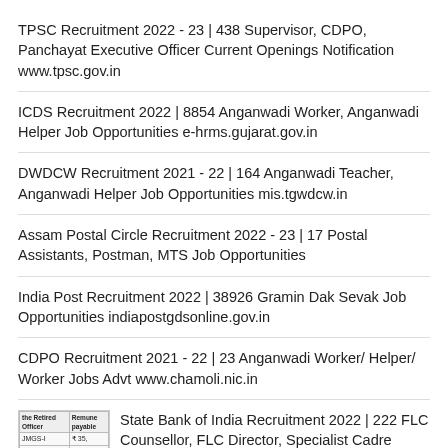TPSC Recruitment 2022 - 23 | 438 Supervisor, CDPO, Panchayat Executive Officer Current Openings Notification www.tpsc.gov.in
ICDS Recruitment 2022 | 8854 Anganwadi Worker, Anganwadi Helper Job Opportunities e-hrms.gujarat.gov.in
DWDCW Recruitment 2021 - 22 | 164 Anganwadi Teacher, Anganwadi Helper Job Opportunities mis.tgwdcw.in
Assam Postal Circle Recruitment 2022 - 23 | 17 Postal Assistants, Postman, MTS Job Opportunities
India Post Recruitment 2022 | 38926 Gramin Dak Sevak Job Opportunities indiapostgdsonline.gov.in
CDPO Recruitment 2021 - 22 | 23 Anganwadi Worker/ Helper/ Worker Jobs Advt www.chamoli.nic.in
[Figure (table-as-image): Small thumbnail table showing Retired Officer grades (JMGS-I, MMGS-II, MMGS-III, SMGS-IV) and Remuneration payable values (₹35, ₹40, ₹40, ₹45...)]
State Bank of India Recruitment 2022 | 222 FLC Counsellor, FLC Director, Specialist Cadre Officer